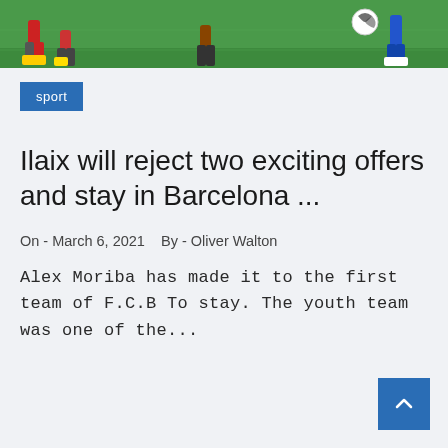[Figure (photo): Soccer/football match scene showing players' legs on a green grass field with a ball visible, cropped to show lower portion of the action]
sport
Ilaix will reject two exciting offers and stay in Barcelona ...
On - March 6, 2021   By - Oliver Walton
Alex Moriba has made it to the first team of F.C.B To stay. The youth team was one of the...